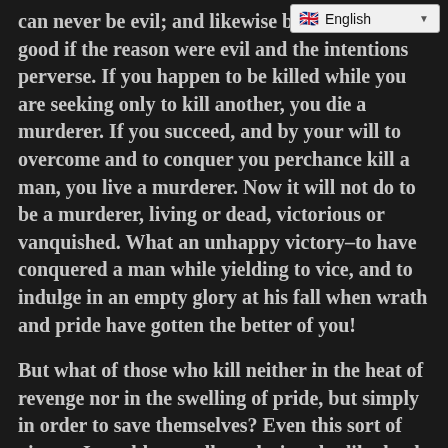[Figure (screenshot): Language selector widget showing UK flag and 'English' label with dropdown arrow]
can never be evil; and likewise be considered good if the reason were evil and the intentions perverse. If you happen to be killed while you are seeking only to kill another, you die a murderer. If you succeed, and by your will to overcome and to conquer you perchance kill a man, you live a murderer. Now it will not do to be a murderer, living or dead, victorious or vanquished. What an unhappy victory–to have conquered a man while yielding to vice, and to indulge in an empty glory at his fall when wrath and pride have gotten the better of you!
But what of those who kill neither in the heat of revenge nor in the swelling of pride, but simply in order to save themselves? Even this sort of victory I would not call good, since bodily death is really a